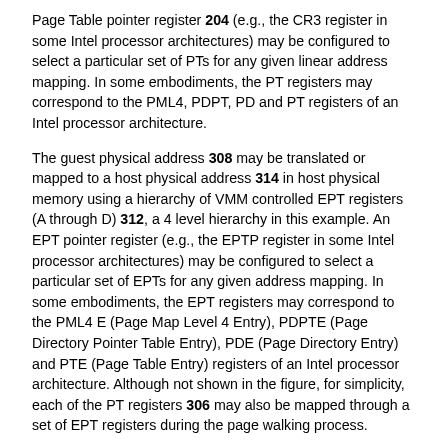Page Table pointer register 204 (e.g., the CR3 register in some Intel processor architectures) may be configured to select a particular set of PTs for any given linear address mapping. In some embodiments, the PT registers may correspond to the PML4, PDPT, PD and PT registers of an Intel processor architecture.
The guest physical address 308 may be translated or mapped to a host physical address 314 in host physical memory using a hierarchy of VMM controlled EPT registers (A through D) 312, a 4 level hierarchy in this example. An EPT pointer register (e.g., the EPTP register in some Intel processor architectures) may be configured to select a particular set of EPTs for any given address mapping. In some embodiments, the EPT registers may correspond to the PML4 E (Page Map Level 4 Entry), PDPTE (Page Directory Pointer Table Entry), PDE (Page Directory Entry) and PTE (Page Table Entry) registers of an Intel processor architecture. Although not shown in the figure, for simplicity, each of the PT registers 306 may also be mapped through a set of EPT registers during the page walking process.